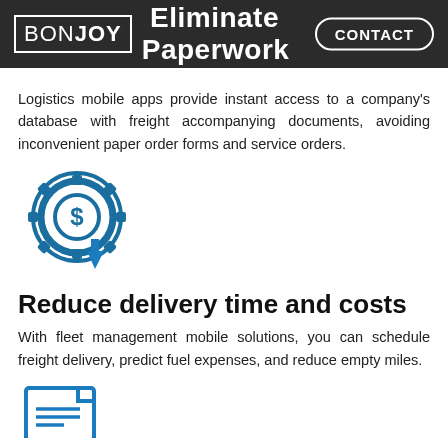BONJOY — Eliminate Paperwork — CONTACT
Logistics mobile apps provide instant access to a company's database with freight accompanying documents, avoiding inconvenient paper order forms and service orders.
[Figure (illustration): Blue gear/cog icon with a dollar sign in the center, with a blue downward-pointing arrow below it.]
Reduce delivery time and costs
With fleet management mobile solutions, you can schedule freight delivery, predict fuel expenses, and reduce empty miles.
[Figure (illustration): Blue document/paper icon with lines, partially visible at bottom of page.]